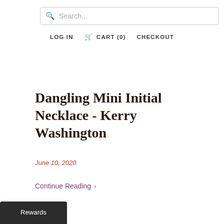Search...
LOG IN   CART (0)   CHECKOUT
Dangling Mini Initial Necklace - Kerry Washington
June 10, 2020
Continue Reading >
Rewards